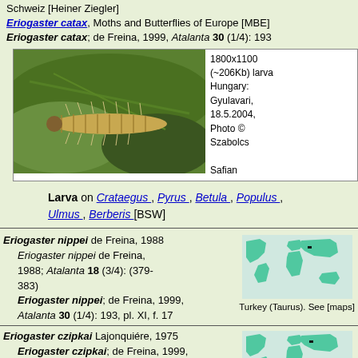Schweiz [Heiner Ziegler]
Eriogaster catax, Moths and Butterflies of Europe [MBE]
Eriogaster catax; de Freina, 1999, Atalanta 30 (1/4): 193
[Figure (photo): Photo of Eriogaster catax larva on a leaf. 1800x1100 (~206Kb) larva Hungary: Gyulavari, 18.5.2004, Photo © Szabolcs Safian]
Larva on Crataegus, Pyrus, Betula, Populus, Ulmus, Berberis [BSW]
Eriogaster nippei de Freina, 1988
Eriogaster nippei de Freina, 1988; Atalanta 18 (3/4): (379-383)
Eriogaster nippei; de Freina, 1999, Atalanta 30 (1/4): 193, pl. XI, f. 17
[Figure (map): World distribution map showing Turkey (Taurus) highlighted in teal/green]
Turkey (Taurus). See [maps]
Eriogaster czipkai Lajonquiére, 1975
Eriogaster czipkai; de Freina, 1999, Atalanta 30 (1/4): 193
[Figure (map): World distribution map for Eriogaster czipkai highlighted in teal/green]